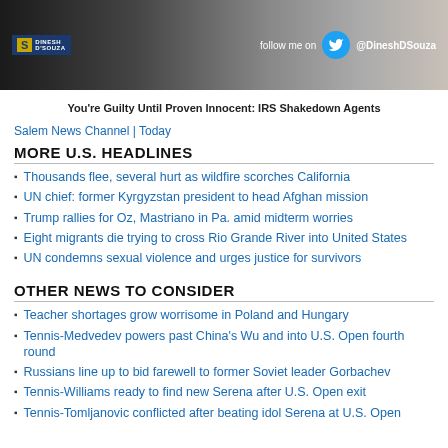[Figure (photo): Banner image showing a man in casual clothing with a Salem News / Dinesh D'Souza logo on the left and a Twitter follow prompt on the right reading 'follow me on @DineshDSouza']
You're Guilty Until Proven Innocent: IRS Shakedown Agents
Salem News Channel | Today
MORE U.S. HEADLINES
Thousands flee, several hurt as wildfire scorches California
UN chief: former Kyrgyzstan president to head Afghan mission
Trump rallies for Oz, Mastriano in Pa. amid midterm worries
Eight migrants die trying to cross Rio Grande River into United States
UN condemns sexual violence and urges justice for survivors
OTHER NEWS TO CONSIDER
Teacher shortages grow worrisome in Poland and Hungary
Tennis-Medvedev powers past China's Wu and into U.S. Open fourth round
Russians line up to bid farewell to former Soviet leader Gorbachev
Tennis-Williams ready to find new Serena after U.S. Open exit
Tennis-Tomljanovic conflicted after beating idol Serena at U.S. Open